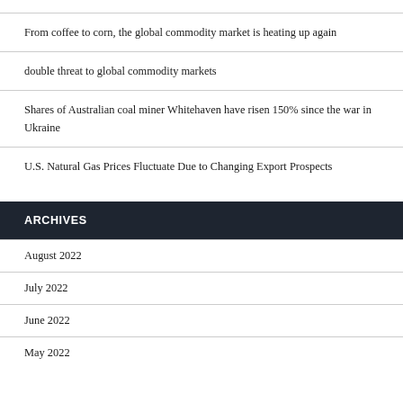From coffee to corn, the global commodity market is heating up again
double threat to global commodity markets
Shares of Australian coal miner Whitehaven have risen 150% since the war in Ukraine
U.S. Natural Gas Prices Fluctuate Due to Changing Export Prospects
ARCHIVES
August 2022
July 2022
June 2022
May 2022